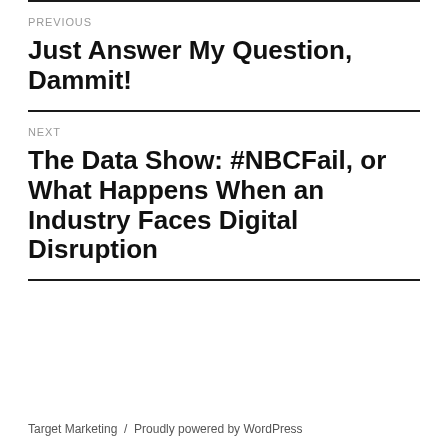PREVIOUS
Just Answer My Question, Dammit!
NEXT
The Data Show: #NBCFail, or What Happens When an Industry Faces Digital Disruption
Target Marketing / Proudly powered by WordPress